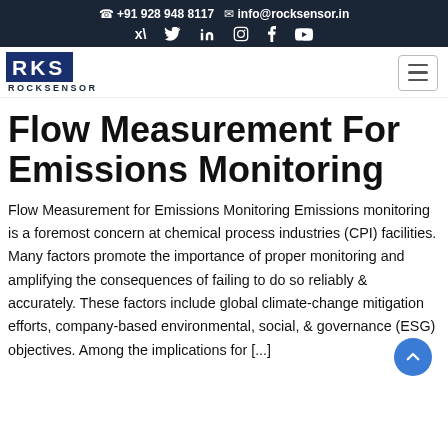+91 928 948 8117  info@rocksensor.in
[Figure (logo): RKS Rocksensor logo — blue square with white letters RKS and ROCKSENSOR text below]
Flow Measurement For Emissions Monitoring
Flow Measurement for Emissions Monitoring Emissions monitoring is a foremost concern at chemical process industries (CPI) facilities. Many factors promote the importance of proper monitoring and amplifying the consequences of failing to do so reliably & accurately. These factors include global climate-change mitigation efforts, company-based environmental, social, & governance (ESG) objectives. Among the implications for [...]